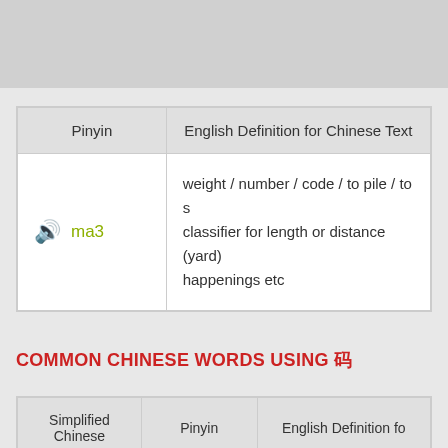| Pinyin | English Definition for Chinese Text |
| --- | --- |
| ma3 | weight / number / code / to pile / to s classifier for length or distance (yard) happenings etc |
COMMON CHINESE WORDS USING 码
| Simplified Chinese | Pinyin | English Definition fo |
| --- | --- | --- |
| [icon] | qi3 ma3 | at the minimum / at l |